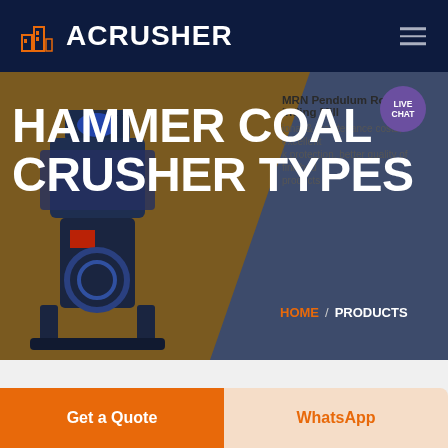ACRUSHER
HAMMER COAL CRUSHER TYPES
MRN Pendulum Roller Grinding Mill
ional & maintenance costs, excellent protection, better quality of finished products
HOME / PRODUCTS
[Figure (photo): Hammer coal crusher machine equipment photo on brown background]
Get a Quote
WhatsApp